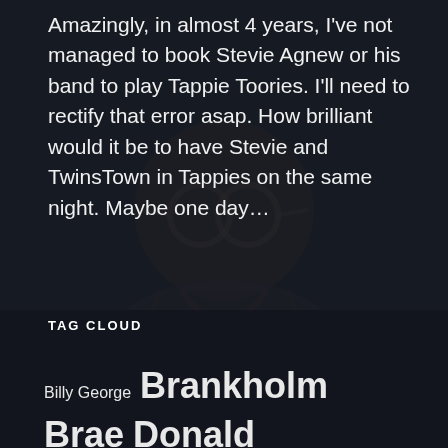Amazingly, in almost 4 years, I've not managed to book Stevie Agnew or his band to play Tappie Toories. I'll need to rectify that error asap. How brilliant would it be to have Stevie and TwinsTown in Tappies on the same night. Maybe one day…
[Figure (illustration): Faint dark silhouette illustration of a man in a suit as a background watermark]
TAG CLOUD
Billy George  Brankholm Brae  Donald Mackay  Harry Dixon  Joe Graham  Mark Guyan  Stuart Mackay  Tappie Toories  TwinsTown  Wayne Robertson